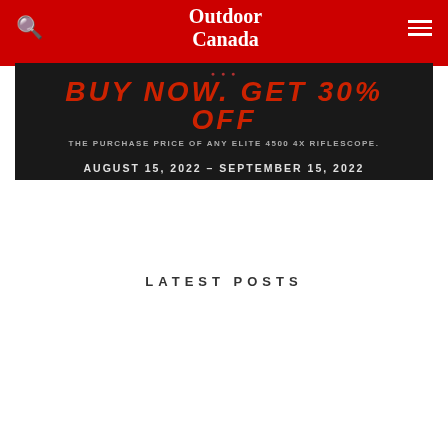Outdoor Canada
[Figure (photo): Dark advertisement banner for Bushnell Elite 4500 4x Riflescope promotion. Text reads: BUY NOW. GET 30% OFF THE PURCHASE PRICE OF ANY ELITE 4500 4X RIFLESCOPE. AUGUST 15, 2022 – SEPTEMBER 15, 2022]
LATEST POSTS